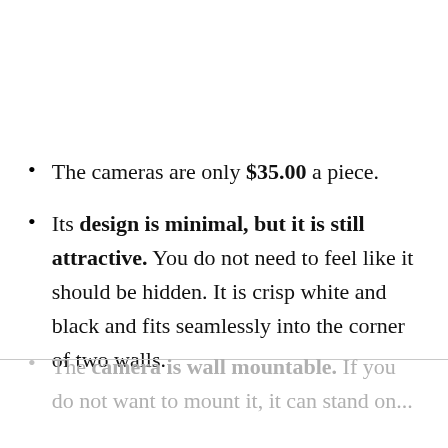The cameras are only $35.00 a piece.
Its design is minimal, but it is still attractive. You do not need to feel like it should be hidden. It is crisp white and black and fits seamlessly into the corner of two walls.
The camera is wall mountable. If you do not want to mount it, it can stand on...